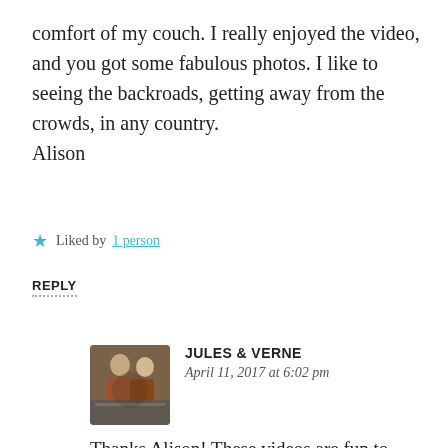comfort of my couch. I really enjoyed the video, and you got some fabulous photos. I like to seeing the backroads, getting away from the crowds, in any country.
Alison
Liked by 1 person
REPLY
[Figure (photo): Small avatar photo of Jules & Verne, two people in a car]
JULES & VERNE
April 11, 2017 at 6:02 pm
Thanks Alison! These videos are fun to make, will